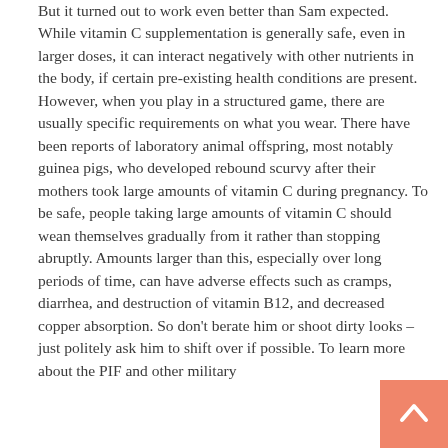But it turned out to work even better than Sam expected. While vitamin C supplementation is generally safe, even in larger doses, it can interact negatively with other nutrients in the body, if certain pre-existing health conditions are present. However, when you play in a structured game, there are usually specific requirements on what you wear. There have been reports of laboratory animal offspring, most notably guinea pigs, who developed rebound scurvy after their mothers took large amounts of vitamin C during pregnancy. To be safe, people taking large amounts of vitamin C should wean themselves gradually from it rather than stopping abruptly. Amounts larger than this, especially over long periods of time, can have adverse effects such as cramps, diarrhea, and destruction of vitamin B12, and decreased copper absorption. So don't berate him or shoot dirty looks – just politely ask him to shift over if possible. To learn more about the PIF and other military